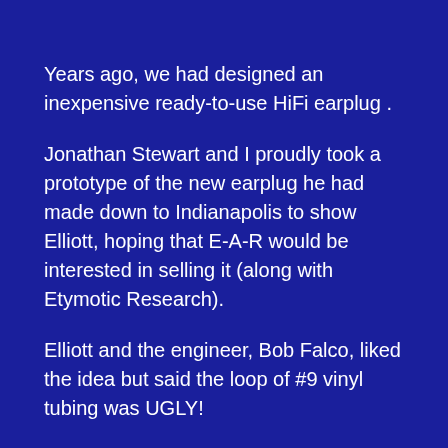Years ago, we had designed an inexpensive ready-to-use HiFi earplug .
Jonathan Stewart and I proudly took a prototype of the new earplug he had made down to Indianapolis to show Elliott, hoping that E-A-R would be interested in selling it (along with Etymotic Research).
Elliott and the engineer, Bob Falco, liked the idea but said the loop of #9 vinyl tubing was UGLY!
After some discussion, they sketched a construction that reduced the length in half: The